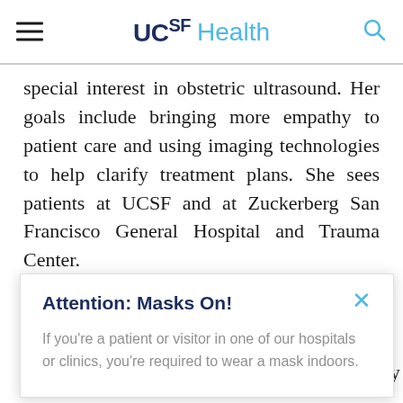UCSF Health
special interest in obstetric ultrasound. Her goals include bringing more empathy to patient care and using imaging technologies to help clarify treatment plans. She sees patients at UCSF and at Zuckerberg San Francisco General Hospital and Trauma Center.
Raghu is passionate about educating and
Attention: Masks On! If you're a patient or visitor in one of our hospitals or clinics, you're required to wear a mask indoors.